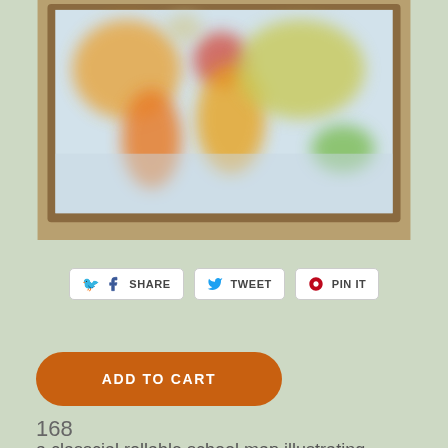[Figure (photo): A blurry/defocused photo of a classical rollable school world map mounted on a wooden frame, showing colorful continents in green, orange, red, yellow on a light background, displayed in a classroom setting with orange-brown surroundings.]
[Figure (infographic): Social sharing buttons row: Facebook SHARE, Twitter TWEET, Pinterest PIN IT — white buttons with rounded corners and colored icons.]
ADD TO CART
168
a classcial rollable school map illustrating